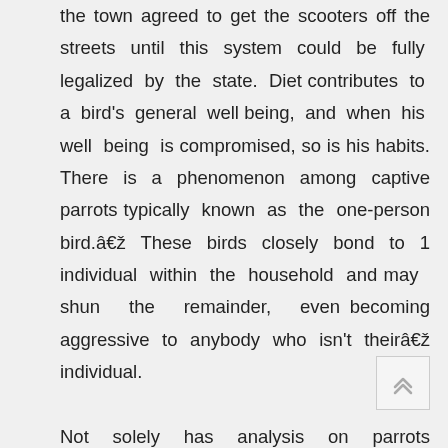the town agreed to get the scooters off the streets until this system could be fully legalized by the state. Diet contributes to a bird's general well being, and when his well being is compromised, so is his habits. There is a phenomenon among captive parrots typically known as the one-person bird.â€ These birds closely bond to 1 individual within the household and may shun the remainder, even becoming aggressive to anybody who isn't theirâ€ individual.

Not solely has analysis on parrots shown that they will assume abstractly and problem-resolve, wild birds have been observed utilizing